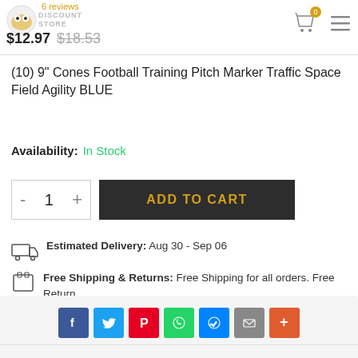6 reviews | DISCOUNT STORE | $12.97 $18.53
(10) 9" Cones Football Training Pitch Marker Traffic Space Field Agility BLUE
Availability: In Stock
- 1 + ADD TO CART
Estimated Delivery: Aug 30 - Sep 06
Free Shipping & Returns: Free Shipping for all orders. Free Return
[Figure (infographic): Social share buttons: Facebook, Twitter, Pinterest, WhatsApp, Messenger, Email, More]